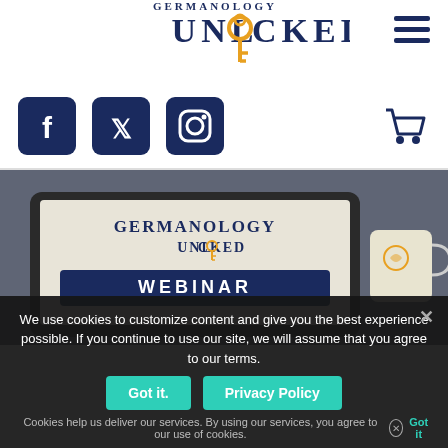[Figure (logo): Germanology Unlocked logo with dark navy text 'UNLOCKED' and a golden key icon replacing the 'O']
[Figure (infographic): Hamburger menu icon (three horizontal navy lines) in top right corner]
[Figure (infographic): Social media icons: Facebook, Twitter, Instagram (navy rounded square buttons) and a shopping cart icon]
[Figure (photo): Hero image showing a laptop with Germanology Unlocked Webinar screen, and a mug with logo on right side, on a blurred background]
We use cookies to customize content and give you the best experience possible. If you continue to use our site, we will assume that you agree to our terms.
Got it.
Privacy Policy
Cookies help us deliver our services. By using our services, you agree to our use of cookies.
Got it